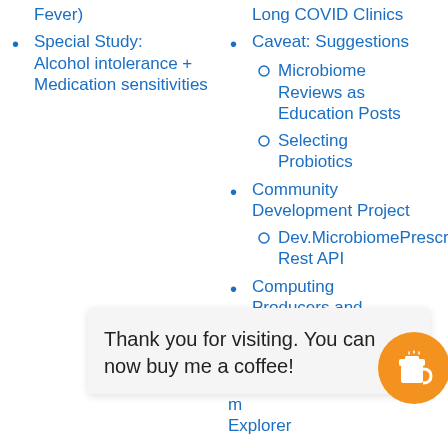Fever)
Special Study: Alcohol intolerance + Medication sensitivities
Long COVID Clinics
Caveat: Suggestions
Microbiome Reviews as Education Posts
Selecting Probiotics
Community Development Project
Dev.MicrobiomePrescri... Rest API
Computing Producers and
om KEGG
Thank you for visiting. You can now buy me a coffee!
m
Explorer